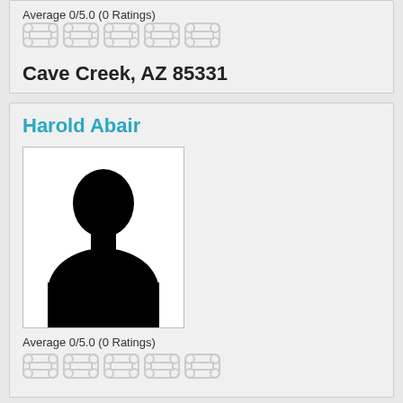Average 0/5.0 (0 Ratings)
[Figure (other): Five bone-shaped rating icons, unfilled/empty state]
Cave Creek, AZ 85331
Harold Abair
[Figure (photo): Silhouette placeholder image of a person (head and shoulders), black on white background]
Average 0/5.0 (0 Ratings)
[Figure (other): Five bone-shaped rating icons, unfilled/empty state]